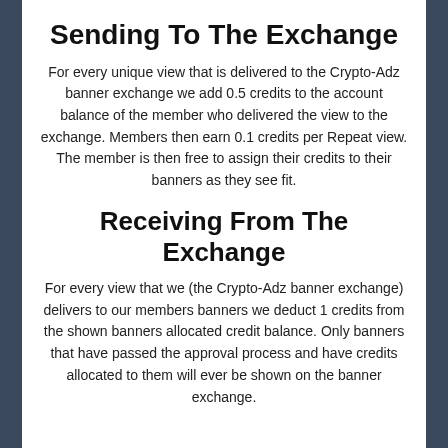Sending To The Exchange
For every unique view that is delivered to the Crypto-Adz banner exchange we add 0.5 credits to the account balance of the member who delivered the view to the exchange. Members then earn 0.1 credits per Repeat view. The member is then free to assign their credits to their banners as they see fit.
Receiving From The Exchange
For every view that we (the Crypto-Adz banner exchange) delivers to our members banners we deduct 1 credits from the shown banners allocated credit balance. Only banners that have passed the approval process and have credits allocated to them will ever be shown on the banner exchange.